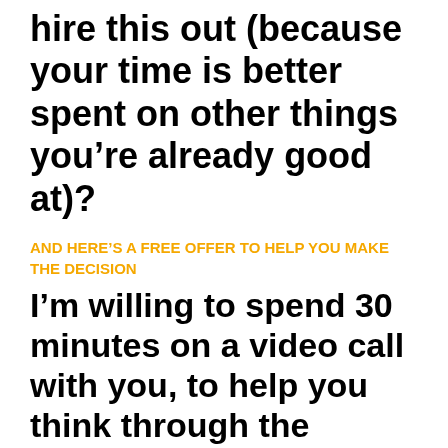hire this out (because your time is better spent on other things you’re already good at)?
AND HERE’S A FREE OFFER TO HELP YOU MAKE THE DECISION
I’m willing to spend 30 minutes on a video call with you, to help you think through the options.
There will be NO hard push to sell you any of my company’s services. If that decision is